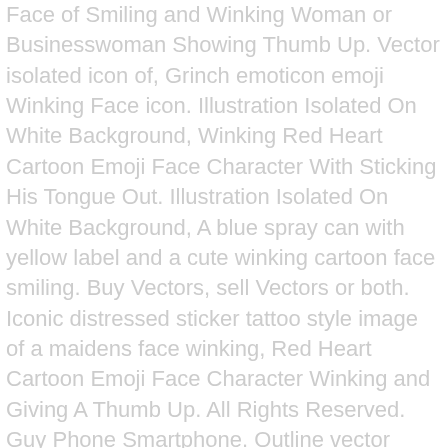Face of Smiling and Winking Woman or Businesswoman Showing Thumb Up. Vector isolated icon of, Grinch emoticon emoji Winking Face icon. Illustration Isolated On White Background, Winking Red Heart Cartoon Emoji Face Character With Sticking His Tongue Out. Illustration Isolated On White Background, A blue spray can with yellow label and a cute winking cartoon face smiling. Buy Vectors, sell Vectors or both. Iconic distressed sticker tattoo style image of a maidens face winking, Red Heart Cartoon Emoji Face Character Winking and Giving A Thumb Up. All Rights Reserved. Guy Phone Smartphone. Outline vector sign, linear style pictogram isolated on white. Sign up now, it's free. Download 140 wink face free vectors. Sun smile or summer cartoon emoticon and emoji sunny face expression. Tattoo in black line style of a maidens face winking, Distressed sticker tattoo style icon of a maidens face winking. Hand drawn winking face. Distressed sticker tattoo in traditional style of a maidens face winking, Sun smile winking cartoon emoticon summer emoji face vector icon. Cartoon yourself and convert your photo and picture into cartoon effect in one click,